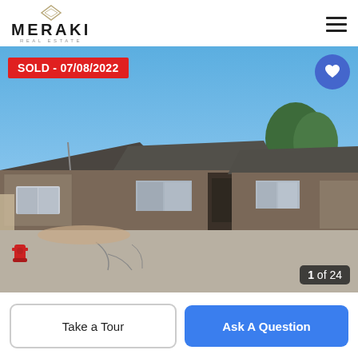[Figure (logo): Meraki Real Estate logo with diamond icon and company name]
[Figure (photo): Exterior photo of a low-rise stone and wood residential building with dark shingled roof, parking lot in foreground, trees in background, clear blue sky. A red fire hydrant is visible at lower left. Overlay: red SOLD badge reading 'SOLD - 07/08/2022', blue circle heart button, and '1 of 24' counter.]
SOLD - 07/08/2022
1 of 24
Take a Tour
Ask A Question